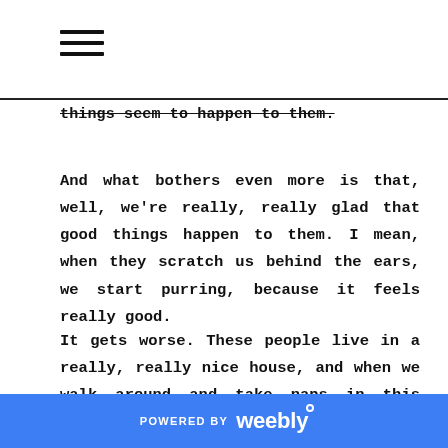[hamburger menu icon]
things seem to happen to them.
And what bothers even more is that, well, we're really, really glad that good things happen to them. I mean, when they scratch us behind the ears, we start purring, because it feels really good.
It gets worse. These people live in a really, really nice house, and when we walk around and take naps in this house, we really like it.
POWERED BY weebly